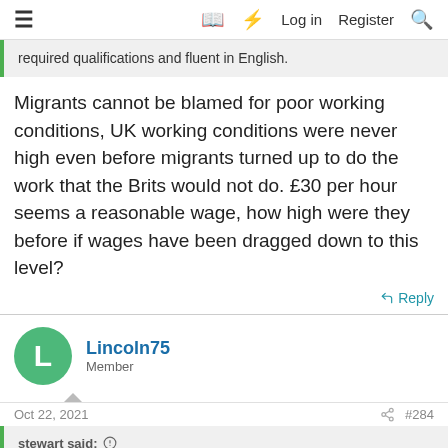≡  [book icon] [lightning icon] Log in  Register [search icon]
required qualifications and fluent in English.
Migrants cannot be blamed for poor working conditions, UK working conditions were never high even before migrants turned up to do the work that the Brits would not do. £30 per hour seems a reasonable wage, how high were they before if wages have been dragged down to this level?
↩ Reply
Lincoln75
Member
Oct 22, 2021  #284
stewart said: ↑
Migrants cannot be blamed for poor working conditions, UK working conditions were never high even before migrants turned up to do the